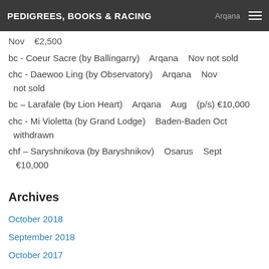PEDIGREES, BOOKS & RACING   Arqana ☰
Nov   €2,500
bc - Coeur Sacre (by Ballingarry)   Arqana   Nov not sold
chc - Daewoo Ling (by Observatory)   Arqana   Nov   not sold
bc – Larafale (by Lion Heart)   Arqana   Aug   (p/s) €10,000
chc - Mi Violetta (by Grand Lodge)   Baden-Baden Oct   withdrawn
chf – Saryshnikova (by Baryshnikov)   Osarus   Sept   €10,000
Archives
October 2018
September 2018
October 2017